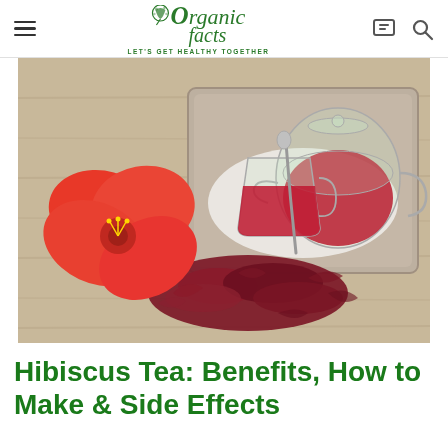Organic Facts — LET'S GET HEALTHY TOGETHER
[Figure (photo): Photo of hibiscus tea in glass teapot and cup on a wooden tray, with a red hibiscus flower and dried hibiscus petals on a wooden surface]
Hibiscus Tea: Benefits, How to Make & Side Effects